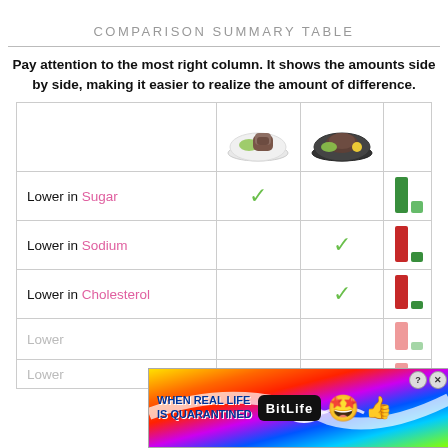COMPARISON SUMMARY TABLE
Pay attention to the most right column. It shows the amounts side by side, making it easier to realize the amount of difference.
|  | Food 1 (meat/veg) | Food 2 (steak/veg) | Comparison |
| --- | --- | --- | --- |
| Lower in Sugar | ✓ |  | bar: green large vs green small |
| Lower in Sodium |  | ✓ | bar: red large vs green small |
| Lower in Cholesterol |  | ✓ | bar: red large vs green small |
| Lower ... |  |  | bar: partial |
| Lower ... |  |  | bar: partial |